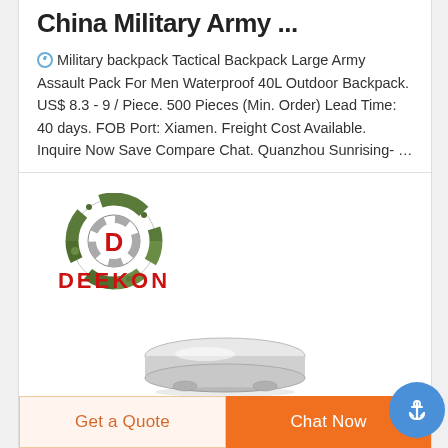China Military Army ...
Military backpack Tactical Backpack Large Army Assault Pack For Men Waterproof 40L Outdoor Backpack. US$ 8.3 - 9 / Piece. 500 Pieces (Min. Order) Lead Time: 40 days. FOB Port: Xiamen. Freight Cost Available. Inquire Now Save Compare Chat. Quanzhou Sunrising- …
[Figure (logo): DEEKON brand logo with camouflage circular emblem and red text]
[Figure (photo): Silver/metallic round tin container product image, partially visible]
Get a Quote  Chat Now